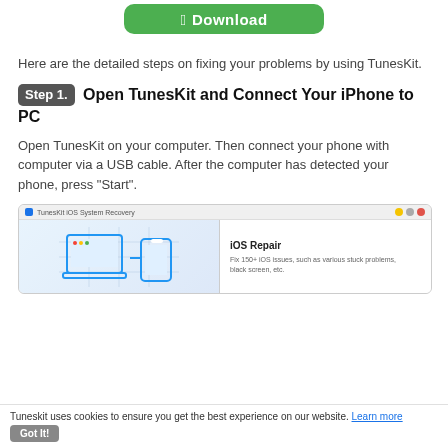[Figure (screenshot): Green download button with Apple logo]
Here are the detailed steps on fixing your problems by using TunesKit.
Step 1.   Open TunesKit and Connect Your iPhone to PC
Open TunesKit on your computer. Then connect your phone with computer via a USB cable. After the computer has detected your phone, press "Start".
[Figure (screenshot): TunesKit iOS System Recovery application screenshot showing iOS Repair panel with device connection interface]
Tuneskit uses cookies to ensure you get the best experience on our website. Learn more